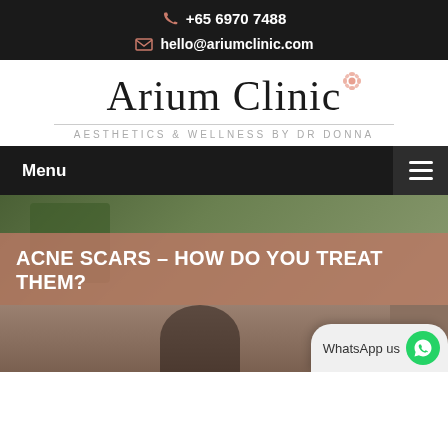+65 6970 7488 | hello@ariumclinic.com
[Figure (logo): Arium Clinic logo with flower icon and tagline: AESTHETICS & WELLNESS BY DR DONNA]
Menu
ACNE SCARS – HOW DO YOU TREAT THEM?
[Figure (photo): Photo of a person's face, partially visible at bottom of page, with WhatsApp us button overlay]